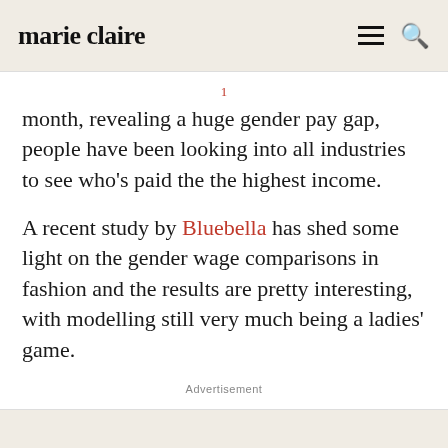marie claire
month, revealing a huge gender pay gap, people have been looking into all industries to see who's paid the the highest income.
A recent study by Bluebella has shed some light on the gender wage comparisons in fashion and the results are pretty interesting, with modelling still very much being a ladies' game.
Advertisement